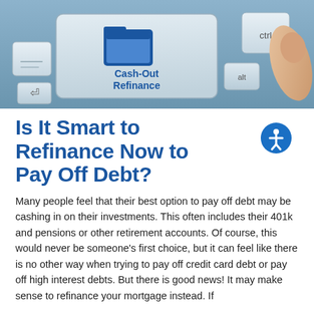[Figure (photo): Close-up photograph of a keyboard with a prominent key labeled 'Cash-Out Refinance' with a folder icon, alongside a 'ctrl' key, an 'alt' key, and a finger pressing a key.]
Is It Smart to Refinance Now to Pay Off Debt?
Many people feel that their best option to pay off debt may be cashing in on their investments. This often includes their 401k and pensions or other retirement accounts. Of course, this would never be someone's first choice, but it can feel like there is no other way when trying to pay off credit card debt or pay off high interest debts. But there is good news! It may make sense to refinance your mortgage instead. If